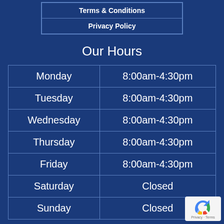| Terms & Conditions |
| Privacy Policy |
Our Hours
| Monday | 8:00am-4:30pm |
| Tuesday | 8:00am-4:30pm |
| Wednesday | 8:00am-4:30pm |
| Thursday | 8:00am-4:30pm |
| Friday | 8:00am-4:30pm |
| Saturday | Closed |
| Sunday | Closed |